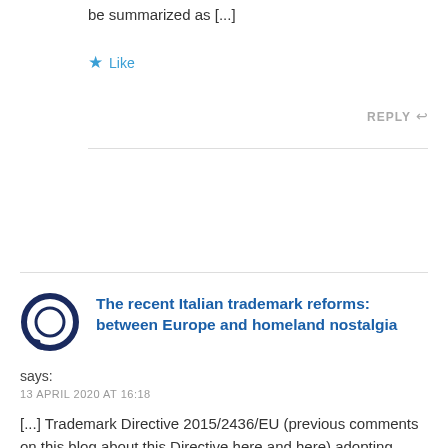be summarized as [...]
★ Like
REPLY ↩
The recent Italian trademark reforms: between Europe and homeland nostalgia says:
13 APRIL 2020 AT 16:18
[…] Trademark Directive 2015/2436/EU (previous comments on this blog about this Directive here and here) adopting Legislative Decree No. 15 of February 20, 2019 (text here; some comments here and […]